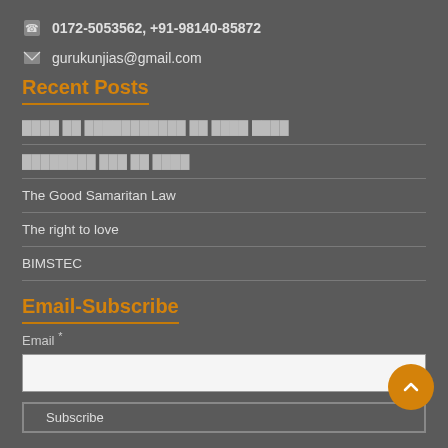0172-5053562, +91-98140-85872
gurukunjias@gmail.com
Recent Posts
[Hindi text - post 1]
[Hindi text - post 2]
The Good Samaritan Law
The right to love
BIMSTEC
Email-Subscribe
Email *
Subscribe